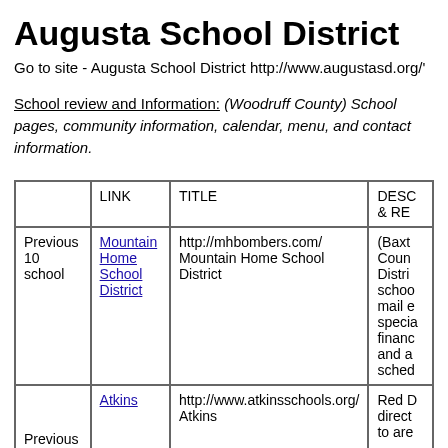Augusta School District
Go to site - Augusta School District http://www.augustasd.org/'
School review and Information: (Woodruff County) School pages, community information, calendar, menu, and contact information.
|  | LINK | TITLE | DESC & RE... |
| --- | --- | --- | --- |
| Previous 10 school | Mountain Home School District | http://mhbombers.com/ Mountain Home School District | (Baxt... Coun... Distri... schoo... mail e... specia... financ... and a... sched... |
| Previous | Atkins | http://www.atkinsschools.org/ Atkins | Red D... direct... to are... |